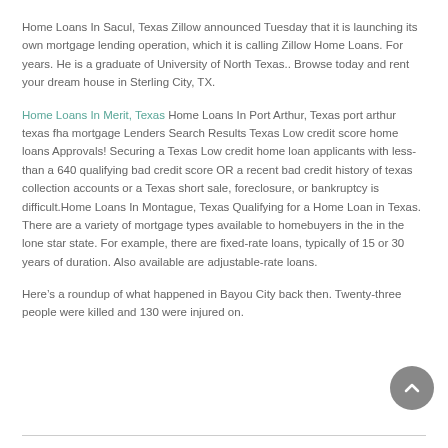Home Loans In Sacul, Texas Zillow announced Tuesday that it is launching its own mortgage lending operation, which it is calling Zillow Home Loans. For years. He is a graduate of University of North Texas.. Browse today and rent your dream house in Sterling City, TX.
Home Loans In Merit, Texas Home Loans In Port Arthur, Texas port arthur texas fha mortgage Lenders Search Results Texas Low credit score home loans Approvals! Securing a Texas Low credit home loan applicants with less-than a 640 qualifying bad credit score OR a recent bad credit history of texas collection accounts or a Texas short sale, foreclosure, or bankruptcy is difficult.Home Loans In Montague, Texas Qualifying for a Home Loan in Texas. There are a variety of mortgage types available to homebuyers in the in the lone star state. For example, there are fixed-rate loans, typically of 15 or 30 years of duration. Also available are adjustable-rate loans.
Here’s a roundup of what happened in Bayou City back then. Twenty-three people were killed and 130 were injured on.